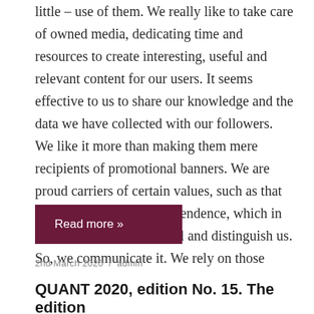little – use of them. We really like to take care of owned media, dedicating time and resources to create interesting, useful and relevant content for our users. It seems effective to us to share our knowledge and the data we have collected with our followers. We like it more than making them mere recipients of promotional banners. We are proud carriers of certain values, such as that of transparency and independence, which in our world are fundamental and distinguish us. So, we communicate it. We rely on those
Read more »
2nd March 2020 / admin
QUANT 2020, edition No. 15. The edition